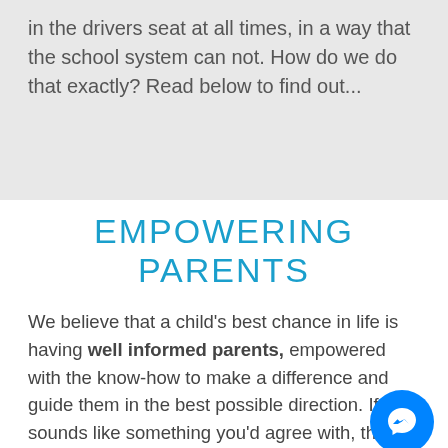in the drivers seat at all times, in a way that the school system can not. How do we do that exactly? Read below to find out...
EMPOWERING PARENTS
We believe that a child's best chance in life is having well informed parents, empowered with the know-how to make a difference and guide them in the best possible direction. If this sounds like something you'd agree with, then you've come to the right place! After your child's initial assessment, if you decide to continue with our private tutoring program,